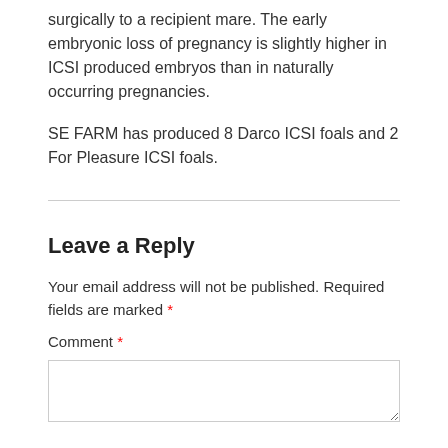surgically to a recipient mare. The early embryonic loss of pregnancy is slightly higher in ICSI produced embryos than in naturally occurring pregnancies.
SE FARM has produced 8 Darco ICSI foals and 2 For Pleasure ICSI foals.
Leave a Reply
Your email address will not be published. Required fields are marked *
Comment *